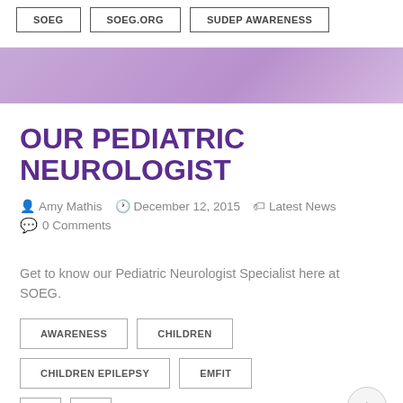SOEG
SOEG.ORG
SUDEP AWARENESS
OUR PEDIATRIC NEUROLOGIST
Amy Mathis  December 12, 2015  Latest News  0 Comments
Get to know our Pediatric Neurologist Specialist here at SOEG.
AWARENESS
CHILDREN
CHILDREN EPILEPSY
EMFIT